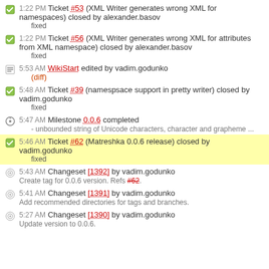1:22 PM Ticket #53 (XML Writer generates wrong XML for namespaces) closed by alexander.basov
fixed
1:22 PM Ticket #56 (XML Writer generates wrong XML for attributes from XML namespace) closed by alexander.basov
fixed
5:53 AM WikiStart edited by vadim.godunko
(diff)
5:48 AM Ticket #39 (namespsace support in pretty writer) closed by vadim.godunko
fixed
5:47 AM Milestone 0.0.6 completed
- unbounded string of Unicode characters, character and grapheme ...
5:46 AM Ticket #62 (Matreshka 0.0.6 release) closed by vadim.godunko
fixed
5:43 AM Changeset [1392] by vadim.godunko
Create tag for 0.0.6 version. Refs #62.
5:41 AM Changeset [1391] by vadim.godunko
Add recommended directories for tags and branches.
5:27 AM Changeset [1390] by vadim.godunko
Update version to 0.0.6.